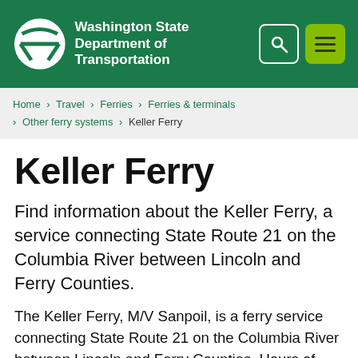Washington State Department of Transportation
Home > Travel > Ferries > Ferries & terminals > Other ferry systems > Keller Ferry
Keller Ferry
Find information about the Keller Ferry, a service connecting State Route 21 on the Columbia River between Lincoln and Ferry Counties.
The Keller Ferry, M/V Sanpoil, is a ferry service connecting State Route 21 on the Columbia River between Lincoln and Ferry Counties. Hours of Operation are 6:00 a.m. to Midnight, seven days per